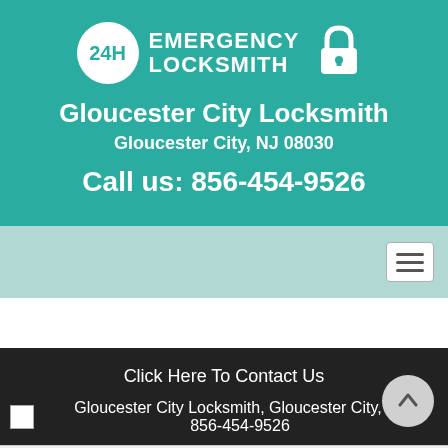[Figure (logo): 24H Emergency Locksmith logo with circle badge and padlock icon]
Gloucester City Locksmith
Gloucester City, NJ 08030
Call us: 856-454-9526
[Figure (other): Navigation bar with hamburger menu button]
Click Here To Contact Us
Gloucester City Locksmith, Gloucester City, NJ 856-454-9526